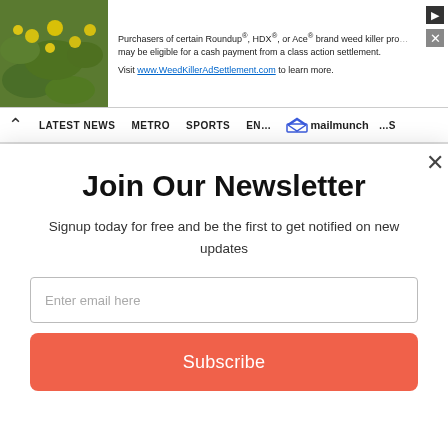[Figure (screenshot): Advertisement banner: image of yellow flowers on green foliage on the left, with text about Roundup/HDX/Ace brand weed killer class action settlement, and close/navigate buttons on the right.]
LATEST NEWS   METRO   SPORTS   ENTERTAINMENT   (mailmunch logo)
Join Our Newsletter
Signup today for free and be the first to get notified on new updates
Enter email here
Subscribe